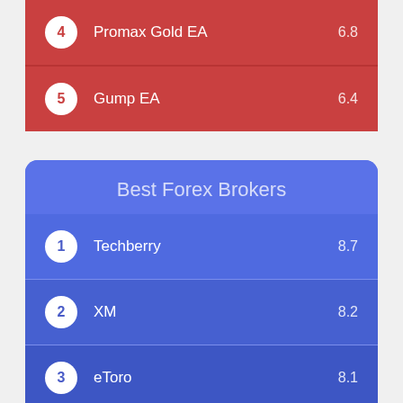4  Promax Gold EA  6.8
5  Gump EA  6.4
Best Forex Brokers
1  Techberry  8.7
2  XM  8.2
3  eToro  8.1
4  Pepperstone  8.1